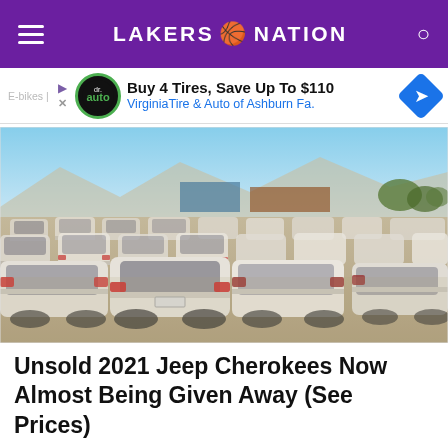LAKERS 🏀 NATION
[Figure (screenshot): Ad banner: Buy 4 Tires, Save Up To $110 — VirginiaTire & Auto of Ashburn Fa.]
[Figure (photo): Large parking lot filled with rows of white cars (Jeep Cherokees) viewed from behind, dusty lot, mountains in background, clear sky.]
Unsold 2021 Jeep Cherokees Now Almost Being Given Away (See Prices)
Jeep Cherokee | Search Ads | Sponsored